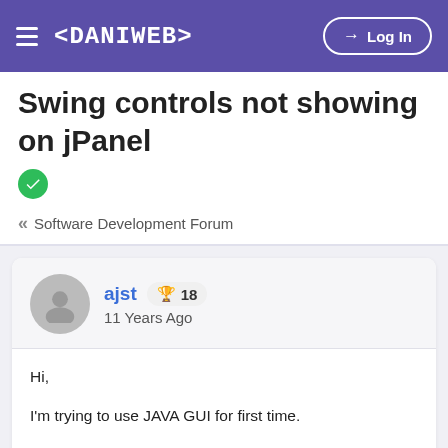< DANIWEB > Log In
Swing controls not showing on jPanel
« Software Development Forum
ajst 🏆 18
11 Years Ago
Hi,

I'm trying to use JAVA GUI for first time.

I've got a Jframe that when loaded adds a jpanel. the problem is it will not show any swing controls that get added to the jPanel.

I'm using netbeans 6.9.1.